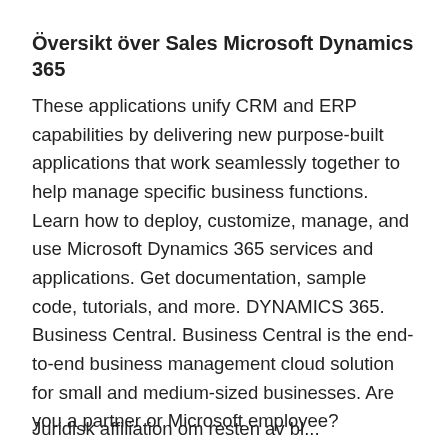Översikt över Sales Microsoft Dynamics 365
These applications unify CRM and ERP capabilities by delivering new purpose-built applications that work seamlessly together to help manage specific business functions. Learn how to deploy, customize, manage, and use Microsoft Dynamics 365 services and applications. Get documentation, sample code, tutorials, and more. DYNAMICS 365. Business Central. Business Central is the end-to-end business management cloud solution for small and medium-sized businesses. Are you a partner or Microsoft employee?
Juridisk affiliation om resten av bl...